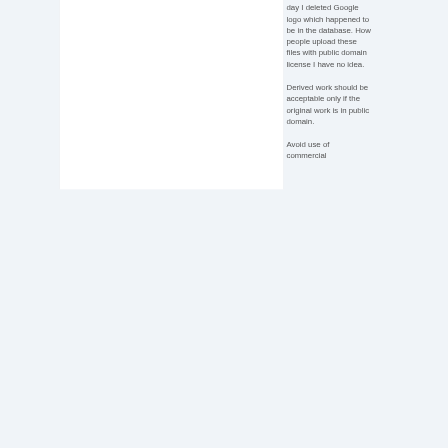day I deleted Google logo which happened to be in the database. How people upload these files with public domain license I have no idea.
Derived work should be acceptable only if the original work is in public domain.
Avoid use of commercial